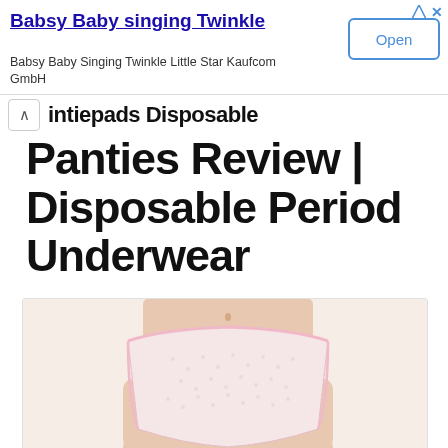[Figure (screenshot): Advertisement banner: 'Babsy Baby singing Twinkle' with Open button]
Intiepads Disposable Panties Review | Disposable Period Underwear
[Figure (photo): Product photo of white lace disposable underwear/panties on a model, showing torso from waist to mid-thigh]